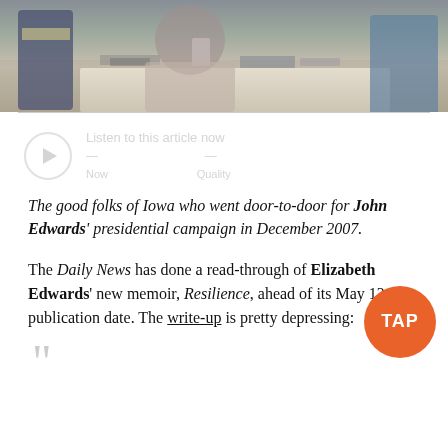[Figure (photo): People standing around a table with books, papers, and materials at what appears to be a campaign event or book fair.]
[Figure (other): Audio player widget with play button, partially visible/faded]
The good folks of Iowa who went door-to-door for John Edwards' presidential campaign in December 2007.
The Daily News has done a read-through of Elizabeth Edwards' new memoir, Resilience, ahead of its May 12 publication date. The write-up is pretty depressing: